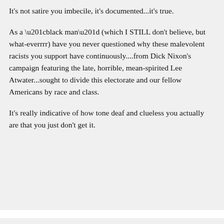It's not satire you imbecile, it's documented...it's true.
As a “black man” (which I STILL don't believe, but what-everrrr) have you never questioned why these malevolent racists you support have continuously....from Dick Nixon's campaign featuring the late, horrible, mean-spirited Lee Atwater...sought to divide this electorate and our fellow Americans by race and class.
It's really indicative of how tone deaf and clueless you actually are that you just don't get it.
Puddybud spews:
Monday, 3/17/08 at 3:43 pm
20